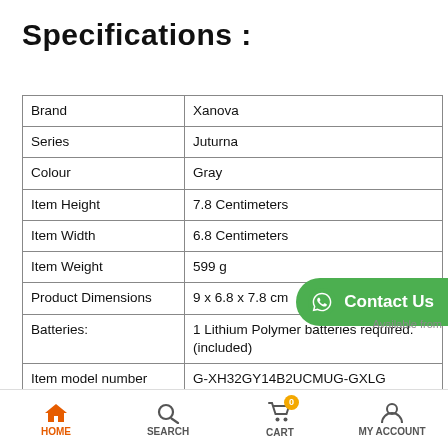Specifications :
| Brand | Xanova |
| Series | Juturna |
| Colour | Gray |
| Item Height | 7.8 Centimeters |
| Item Width | 6.8 Centimeters |
| Item Weight | 599 g |
| Product Dimensions | 9 x 6.8 x 7.8 cm |
| Batteries: | 1 Lithium Polymer batteries required. (included) |
| Item model number | G-XH32GY14B2UCMUG-GXLG |
| Hardware Platform | PC, Xbox and PS4, Mobile and Laptop |
| Lithium Battery Energy Content | 3.70 Watt Hours |
| Lithium battery Weight | 0.85 Grams |
| included |  |
HOME  SEARCH  CART 0  MY ACCOUNT